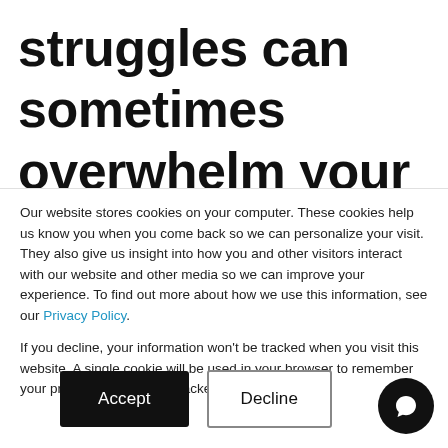struggles can sometimes overwhelm your vision for the future. So what's the secret to working through your business's
Our website stores cookies on your computer. These cookies help us know you when you come back so we can personalize your visit. They also give us insight into how you and other visitors interact with our website and other media so we can improve your experience. To find out more about how we use this information, see our Privacy Policy.
If you decline, your information won't be tracked when you visit this website. A single cookie will be used in your browser to remember your preference not to be tracked.
Accept
Decline